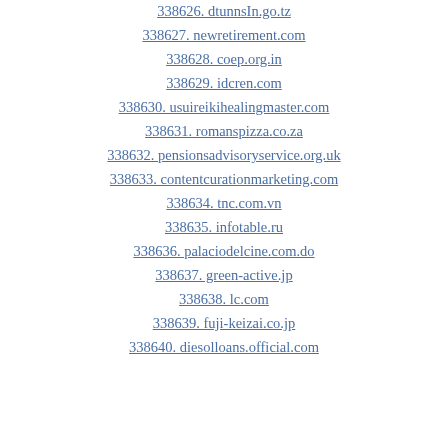338626. dtunnsIn.go.tz
338627. newretirement.com
338628. coep.org.in
338629. idcren.com
338630. usuireikihealingmaster.com
338631. romanspizza.co.za
338632. pensionsadvisoryservice.org.uk
338633. contentcurationmarketing.com
338634. tnc.com.vn
338635. infotable.ru
338636. palaciodelcine.com.do
338637. green-active.jp
338638. lc.com
338639. fuji-keizai.co.jp
338640. diesolloans.official.com